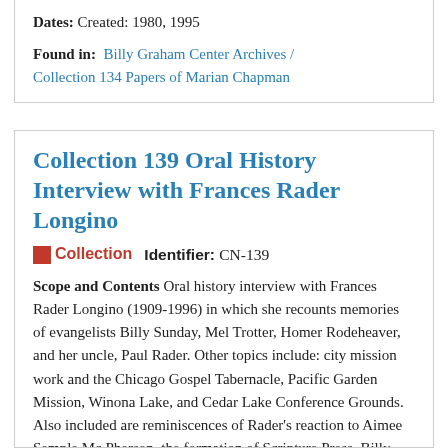Dates: Created: 1980, 1995
Found in: Billy Graham Center Archives / Collection 134 Papers of Marian Chapman
Collection 139 Oral History Interview with Frances Rader Longino
Collection   Identifier: CN-139
Scope and Contents Oral history interview with Frances Rader Longino (1909-1996) in which she recounts memories of evangelists Billy Sunday, Mel Trotter, Homer Rodeheaver, and her uncle, Paul Rader. Other topics include: city mission work and the Chicago Gospel Tabernacle, Pacific Garden Mission, Winona Lake, and Cedar Lake Conference Grounds. Also included are reminiscences of Rader's reaction to Aimee Semple Mc Pherson, the formation of Scripture Press, Billy Graham's early preaching and crusades, and some...
Dates: Created: 1980